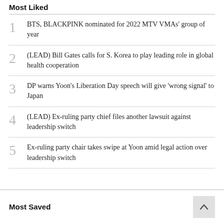Most Liked
1 BTS, BLACKPINK nominated for 2022 MTV VMAs' group of year
2 (LEAD) Bill Gates calls for S. Korea to play leading role in global health cooperation
3 DP warns Yoon's Liberation Day speech will give 'wrong signal' to Japan
4 (LEAD) Ex-ruling party chief files another lawsuit against leadership switch
5 Ex-ruling party chair takes swipe at Yoon amid legal action over leadership switch
Most Saved